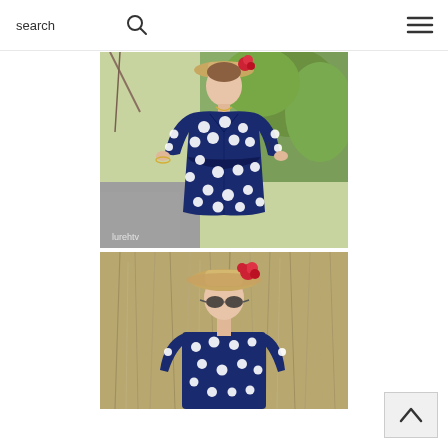search
[Figure (photo): Woman wearing a navy blue polka dot wrap dress with 3/4 sleeves and a straw hat with red flowers, standing outdoors with green foliage in background. Watermark text partially visible.]
[Figure (photo): Second photo of same woman in navy polka dot dress and straw hat with red flowers, in outdoor setting with dry grass/reeds in background.]